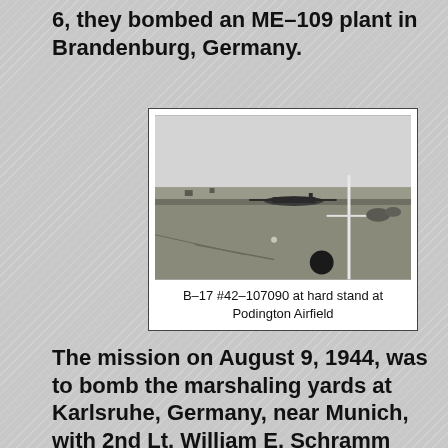6, they bombed an ME-109 plant in Brandenburg, Germany.
[Figure (photo): Black and white photograph of a B-17 bomber aircraft at hard stand at Podington Airfield, showing a wide airfield with aircraft and structures visible in the distance.]
B-17 #42-107090 at hard stand at Podington Airfield
The mission on August 9, 1944, was to bomb the marshaling yards at Karlsruhe, Germany, near Munich, with 2nd Lt. William E. Schramm piloting B-17 #42-107090. They were hit by flak and the plane